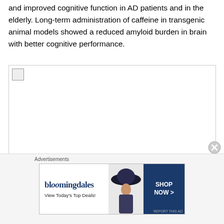and improved cognitive function in AD patients and in the elderly. Long-term administration of caffeine in transgenic animal models showed a reduced amyloid burden in brain with better cognitive performance.
[Figure (other): A broken/missing image placeholder shown as a small icon with border, representing a figure that failed to load.]
[Figure (other): Advertisement banner for Bloomingdale's showing 'View Today's Top Deals!' with a SHOP NOW button, featuring a woman with a wide-brim hat.]